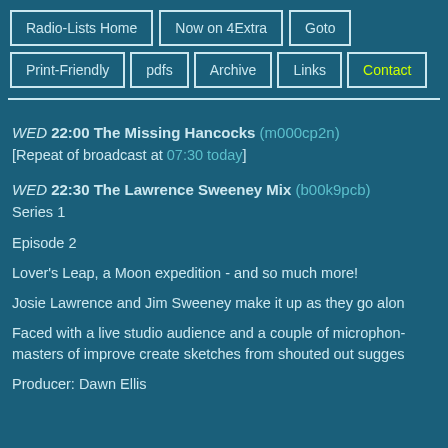Radio-Lists Home | Now on 4Extra | Goto | Print-Friendly | pdfs | Archive | Links | Contact
WED 22:00 The Missing Hancocks (m000cp2n) [Repeat of broadcast at 07:30 today]
WED 22:30 The Lawrence Sweeney Mix (b00k9pcb) Series 1
Episode 2
Lover's Leap, a Moon expedition - and so much more!
Josie Lawrence and Jim Sweeney make it up as they go along
Faced with a live studio audience and a couple of microphones, these masters of improve create sketches from shouted out suggestions.
Producer: Dawn Ellis